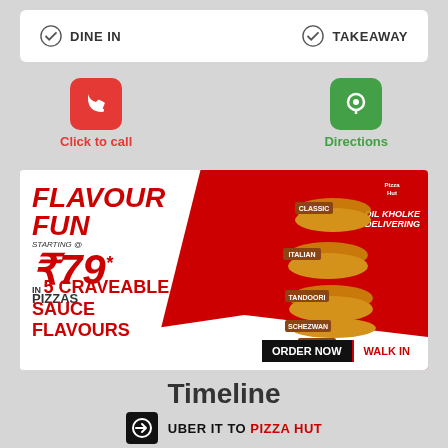DINE IN
TAKEAWAY
Click to call
Directions
[Figure (infographic): Pizza Hut promotional banner: FLAVOUR FUN PIZZAS starting at 79. IN 5 CRAVEABLE SAUCE FLAVOURS. Shows stacked pizzas labeled CLASSIC, ITALIAN, TANDOORI, SCHEZWAN, CHEEZY. DIL KHOLKE DELIVERING. ORDER NOW | WALK IN.]
Timeline
UBER IT TO PIZZA HUT